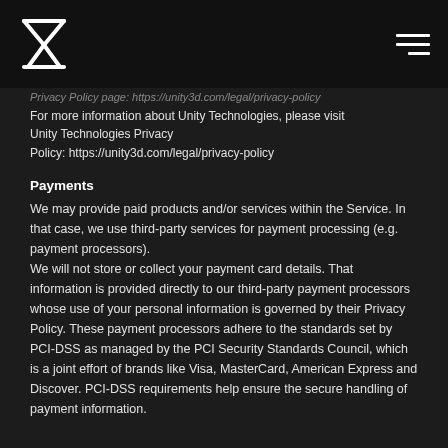Logo and navigation header
Privacy Policy page: https://unity3d.com/legal/privacy-policy
For more information about Unity Technologies, please visit Unity Technologies Privacy Policy: https://unity3d.com/legal/privacy-policy
Payments
We may provide paid products and/or services within the Service. In that case, we use third-party services for payment processing (e.g. payment processors).
We will not store or collect your payment card details. That information is provided directly to our third-party payment processors whose use of your personal information is governed by their Privacy Policy. These payment processors adhere to the standards set by PCI-DSS as managed by the PCI Security Standards Council, which is a joint effort of brands like Visa, MasterCard, American Express and Discover. PCI-DSS requirements help ensure the secure handling of payment information.